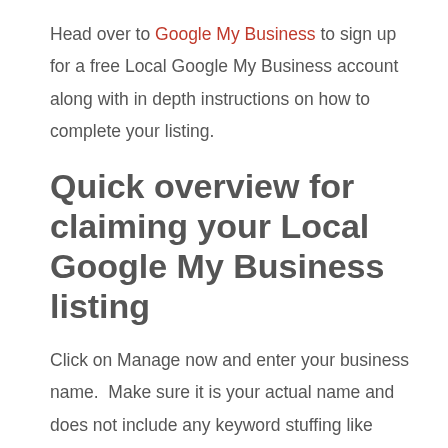Head over to Google My Business to sign up for a free Local Google My Business account along with in depth instructions on how to complete your listing.
Quick overview for claiming your Local Google My Business listing
Click on Manage now and enter your business name.  Make sure it is your actual name and does not include any keyword stuffing like “Joe’s ISLIP Plumbing service 24 hours” when your actual